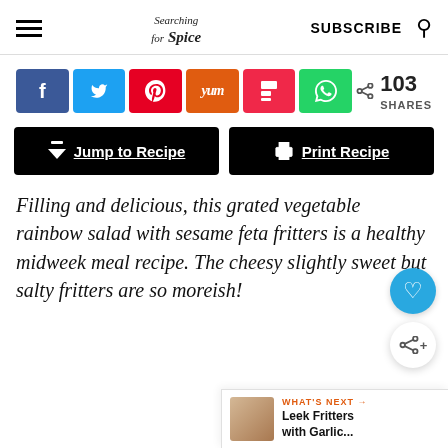Searching for Spice | SUBSCRIBE
[Figure (infographic): Social share buttons: Facebook, Twitter, Pinterest, Yummly, Flipboard, WhatsApp. Share count: 103 SHARES.]
[Figure (infographic): Two black buttons: Jump to Recipe and Print Recipe]
Filling and delicious, this grated vegetable rainbow salad with sesame feta fritters is a healthy midweek meal recipe. The cheesy slightly sweet but salty fritters are so moreish!